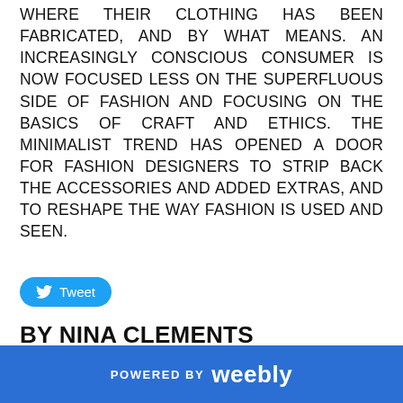WHERE THEIR CLOTHING HAS BEEN FABRICATED, AND BY WHAT MEANS. AN INCREASINGLY CONSCIOUS CONSUMER IS NOW FOCUSED LESS ON THE SUPERFLUOUS SIDE OF FASHION AND FOCUSING ON THE BASICS OF CRAFT AND ETHICS. THE MINIMALIST TREND HAS OPENED A DOOR FOR FASHION DESIGNERS TO STRIP BACK THE ACCESSORIES AND ADDED EXTRAS, AND TO RESHAPE THE WAY FASHION IS USED AND SEEN.
[Figure (other): Twitter Tweet button — blue rounded rectangle with white bird icon and text 'Tweet']
BY NINA CLEMENTS
FOUNDER AND CEO OF ROOTS MAGAZINE
POWERED BY weebly